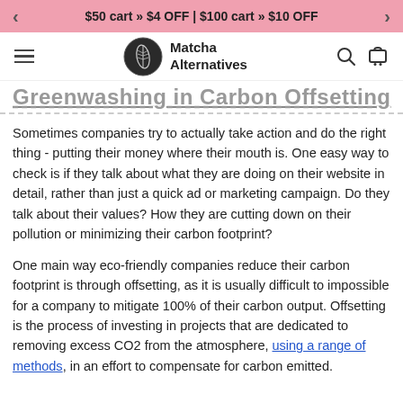< $50 cart » $4 OFF | $100 cart » $10 OFF >
[Figure (logo): Matcha Alternatives logo with hamburger menu, circular leaf logo, brand name, search and cart icons]
Greenwashing in Carbon Offsetting
Sometimes companies try to actually take action and do the right thing - putting their money where their mouth is. One easy way to check is if they talk about what they are doing on their website in detail, rather than just a quick ad or marketing campaign. Do they talk about their values? How they are cutting down on their pollution or minimizing their carbon footprint?
One main way eco-friendly companies reduce their carbon footprint is through offsetting, as it is usually difficult to impossible for a company to mitigate 100% of their carbon output. Offsetting is the process of investing in projects that are dedicated to removing excess CO2 from the atmosphere, using a range of methods, in an effort to compensate for carbon emitted.